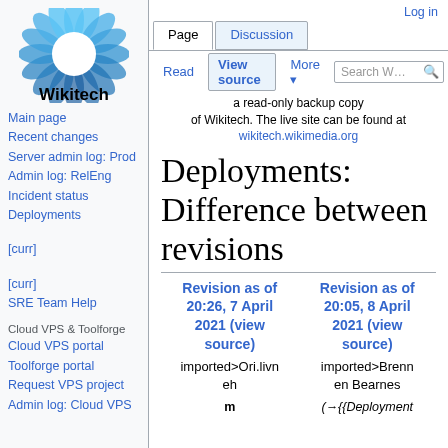[Figure (logo): Wikitech logo — blue sunflower/gear icon with text 'Wikitech' below]
Main page
Recent changes
Server admin log: Prod
Admin log: RelEng
Incident status
Deployments   [curr] [curr]
SRE Team Help
Cloud VPS & Toolforge
Cloud VPS portal
Toolforge portal
Request VPS project
Admin log: Cloud VPS
Log in
a read-only backup copy of Wikitech. The live site can be found at wikitech.wikimedia.org
Deployments: Difference between revisions
| Revision as of 20:26, 7 April 2021 (view source) | Revision as of 20:05, 8 April 2021 (view source) |
| --- | --- |
| imported>Ori.livneh | imported>Brennen Bearnes |
| m | (→{{Deployment |